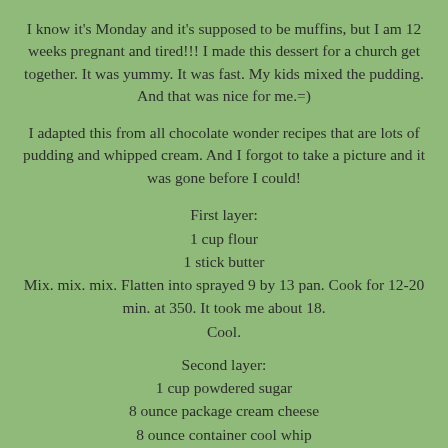I know it's Monday and it's supposed to be muffins, but I am 12 weeks pregnant and tired!!! I made this dessert for a church get together. It was yummy. It was fast. My kids mixed the pudding. And that was nice for me.=)
I adapted this from all chocolate wonder recipes that are lots of pudding and whipped cream. And I forgot to take a picture and it was gone before I could!
First layer:
1 cup flour
1 stick butter
Mix. mix. mix. Flatten into sprayed 9 by 13 pan. Cook for 12-20 min. at 350. It took me about 18.
Cool.
Second layer:
1 cup powdered sugar
8 ounce package cream cheese
8 ounce container cool whip
Mix. Mix. Mix. Pat on top of 1st layer.